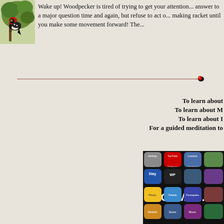[Figure (illustration): Illustration of a woodpecker bird on a branch with red, black and white coloring, surrounded by green foliage]
Wake up! Woodpecker is tired of trying to get your attention... answer to a major question time and again, but refuse to act o... making racket until you make some movement forward! The...
[Figure (illustration): Horizontal decorative divider line with a small bird/woodpecker graphic at the right end]
To learn about...
To learn about M...
To learn about I...
For a guided meditation to...
[Figure (screenshot): Screenshot of a smartphone screen showing various app icons including Settings, YouTube, Contacts, Stay, Wikipanion, Zen Bound, Photos, Tweetie, Foursquare, Weather, Stocks, Bloom, with a large RECOMM... text overlay]